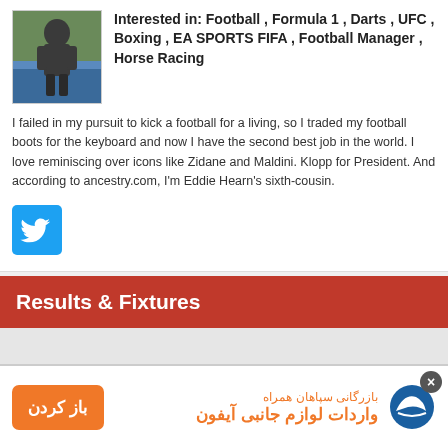[Figure (photo): Profile photo of a man in dark clothing outdoors]
Interested in: Football , Formula 1 , Darts , UFC , Boxing , EA SPORTS FIFA , Football Manager , Horse Racing
I failed in my pursuit to kick a football for a living, so I traded my football boots for the keyboard and now I have the second best job in the world. I love reminiscing over icons like Zidane and Maldini. Klopp for President. And according to ancestry.com, I'm Eddie Hearn's sixth-cousin.
[Figure (logo): Twitter bird logo button in blue square]
Results & Fixtures
[Figure (other): Advertisement banner in Persian/Farsi text about iPhone accessories with orange open button]